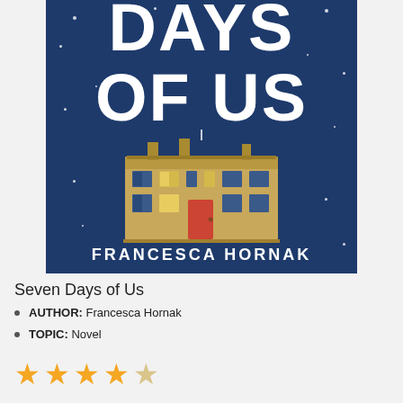[Figure (illustration): Book cover of 'Seven Days of Us' by Francesca Hornak. Dark navy blue background with white title text 'DAYS OF US' (partial, top cropped), an illustration of a large Georgian mansion/country house in the center with lit windows and a red door, small stars scattered across the background, and 'FRANCESCA HORNAK' in white text at the bottom.]
Seven Days of Us
AUTHOR: Francesca Hornak
TOPIC: Novel
[Figure (other): Four full gold stars and one partial/light gold star rating, indicating approximately 4 out of 5 stars.]